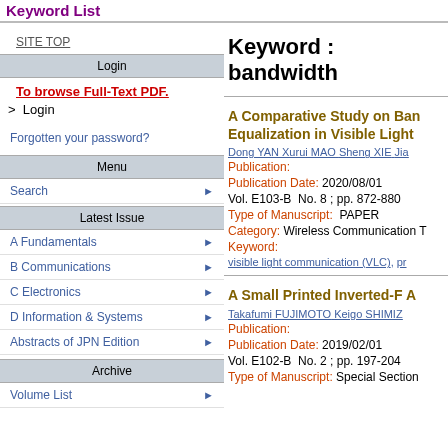Keyword List
SITE TOP
Login
To browse Full-Text PDF.
> Login
Forgotten your password?
Menu
Search
Latest Issue
A Fundamentals
B Communications
C Electronics
D Information & Systems
Abstracts of JPN Edition
Archive
Volume List
Keyword : bandwidth
A Comparative Study on Bandwidth Equalization in Visible Light
Dong YAN  Xurui MAO  Sheng XIE  Jia...
Publication:
Publication Date: 2020/08/01
Vol. E103-B  No. 8 ; pp. 872-880
Type of Manuscript:  PAPER
Category: Wireless Communication T...
Keyword:
visible light communication (VLC), pr...
A Small Printed Inverted-F A...
Takafumi FUJIMOTO  Keigo SHIMIZ...
Publication:
Publication Date: 2019/02/01
Vol. E102-B  No. 2 ; pp. 197-204
Type of Manuscript:  Special Section...